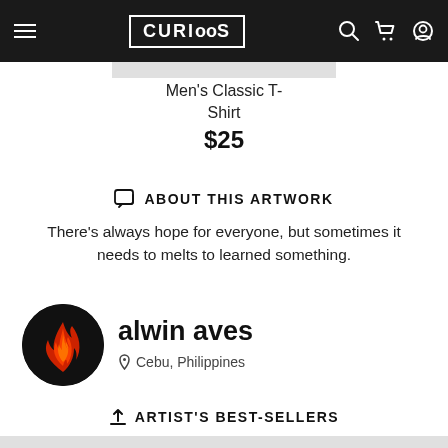[Figure (screenshot): Website header with dark background, hamburger menu on left, CURIOOS logo in center, search/cart/user icons on right]
Men's Classic T-Shirt
$25
ABOUT THIS ARTWORK
There's always hope for everyone, but sometimes it needs to melts to learned something.
[Figure (photo): Artist avatar: circular black background with red flame/fire illustration]
alwin aves
Cebu, Philippines
ARTIST'S BEST-SELLERS